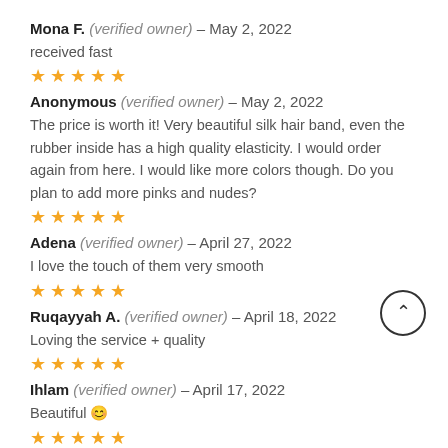Mona F. (verified owner) – May 2, 2022
received fast
[Figure (other): 5 gold star rating]
Anonymous (verified owner) – May 2, 2022
The price is worth it! Very beautiful silk hair band, even the rubber inside has a high quality elasticity. I would order again from here. I would like more colors though. Do you plan to add more pinks and nudes?
[Figure (other): 5 gold star rating]
Adena (verified owner) – April 27, 2022
I love the touch of them very smooth
[Figure (other): 5 gold star rating]
Ruqayyah A. (verified owner) – April 18, 2022
Loving the service + quality
[Figure (other): 5 gold star rating]
Ihlam (verified owner) – April 17, 2022
Beautiful 😊
[Figure (other): 5 gold star rating]
Leonarda (verified owner) – April 12, 2022